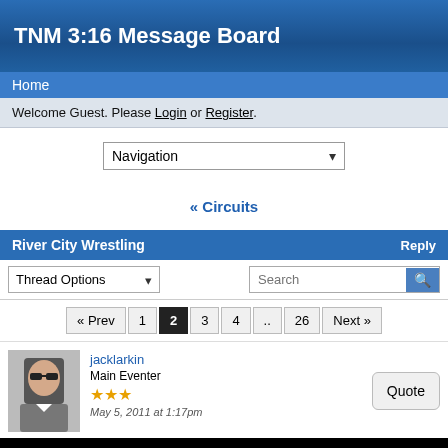TNM 3:16 Message Board
Home
Welcome Guest. Please Login or Register.
Navigation
« Circuits
River City Wrestling   Reply
Thread Options   Search
« Prev  1  2  3  4  ..  26  Next »
jacklarkin
Main Eventer
★★★
May 5, 2011 at 1:17pm